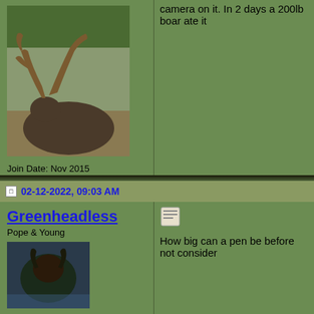camera on it. In 2 days a 200lb boar ate it
Join Date: Nov 2015
Location: Burr
Hunt In: Down South
[Figure (photo): Trophy deer with large antlers lying on ground]
[Figure (illustration): Small badge/shield icon]
02-12-2022, 09:03 AM
Greenheadless
Pope & Young
[Figure (photo): Dark animal avatar photo]
Join Date: Dec 2006
Location: Houston, TX
Hunt In: SE Texas
[Figure (illustration): Quote/notepad icon]
How big can a pen be before not consider